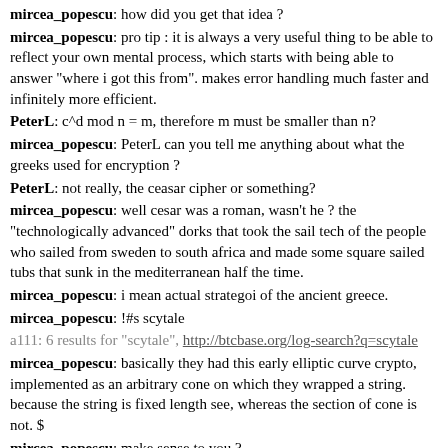mircea_popescu: how did you get that idea ?
mircea_popescu: pro tip : it is always a very useful thing to be able to reflect your own mental process, which starts with being able to answer "where i got this from". makes error handling much faster and infinitely more efficient.
PeterL: c^d mod n = m, therefore m must be smaller than n?
mircea_popescu: PeterL can you tell me anything about what the greeks used for encryption ?
PeterL: not really, the ceasar cipher or something?
mircea_popescu: well cesar was a roman, wasn't he ? the "technologically advanced" dorks that took the sail tech of the people who sailed from sweden to south africa and made some square sailed tubs that sunk in the mediterranean half the time.
mircea_popescu: i mean actual strategoi of the ancient greece.
mircea_popescu: !#s scytale
a111: 6 results for "scytale", http://btcbase.org/log-search?q=scytale
mircea_popescu: basically they had this early elliptic curve crypto, implemented as an arbitrary cone on which they wrapped a string. because the string is fixed length see, whereas the section of cone is not.
mircea_popescu: make sense to you ?
PeterL: alright, so the decryption relied on having an identical physical object?
mircea_popescu: yeah.